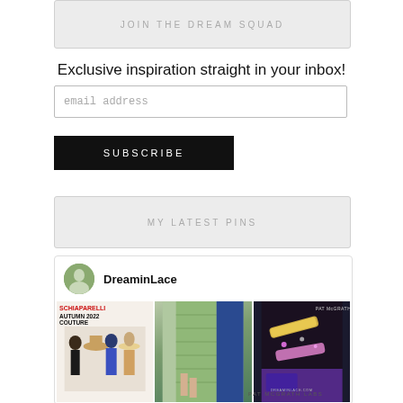JOIN THE DREAM SQUAD
Exclusive inspiration straight in your inbox!
email address
SUBSCRIBE
MY LATEST PINS
[Figure (screenshot): Pinterest widget showing DreaminLace profile with three fashion/beauty image pins: Schiaparelli Autumn 2022 Couture collage, a green beaded dress with blue accent, and Pat McGrath Labs cosmetics.]
PAT McGRATH LABS